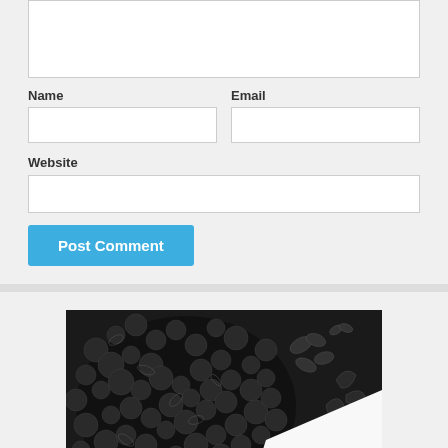[Figure (screenshot): Comment form with textarea, Name field, Email field, Website field, and Post Comment button]
[Figure (illustration): Book cover for Dominique Duong with black and white floral/butterfly illustration design]